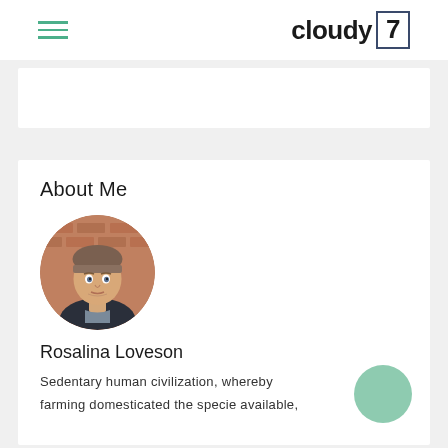cloudy 7
About Me
[Figure (photo): Circular profile photo of a young man wearing a beanie hat, looking at camera, against a brick wall background]
Rosalina Loveson
Sedentary human civilization, whereby farming domesticated the specie available,